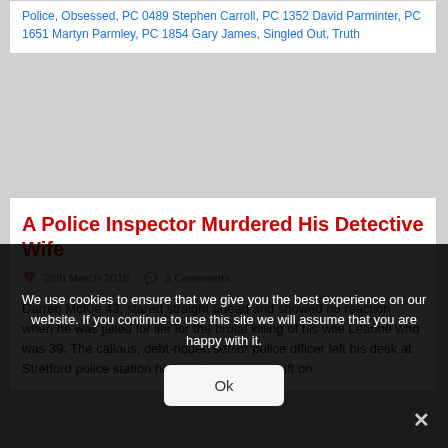Police, Obsessed, PC 0489 Stephen Carroll, PC 1352 David Parminter, PC 1651 Martyn Parmley, PC 1854 Gary James, Singled Out, Truth
A Police Inspector Murdered His Detective Wife
28th March 2018   3 Comments
Darren McKie 43, stared straight ahead and showed no reaction when he was jailed for life for the brutal killing of his wife Leanne who was 39. The callous, debt-ridden senior police officer left his desk at Stretford police station halfway through his shift on
We use cookies to ensure that we give you the best experience on our website. If you continue to use this site we will assume that you are happy with it.